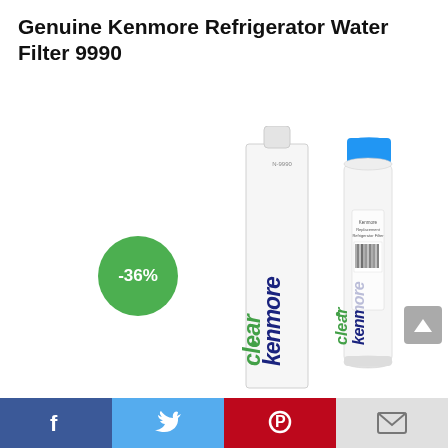Genuine Kenmore Refrigerator Water Filter 9990
[Figure (photo): Product photo showing Kenmore Clear 9990 refrigerator water filter with box packaging (white tall box with 'kenmoreclear' branding in dark blue and green italic text, model number on top) and the cylindrical filter unit with blue cap, displaying 'kenmoreclear' branding, plus a green circular badge showing -36% discount]
[Figure (infographic): Social sharing bar at bottom with Facebook (dark blue), Twitter (light blue), Pinterest (red), and email (light gray) buttons]